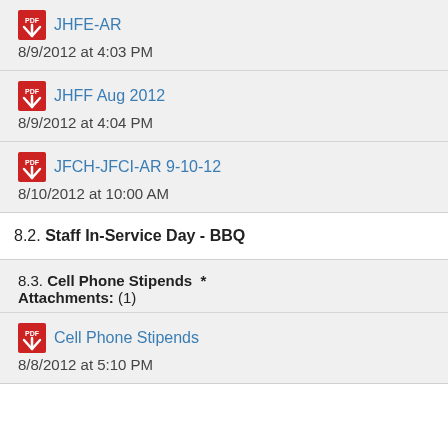JHFE-AR
8/9/2012 at 4:03 PM
JHFF Aug 2012
8/9/2012 at 4:04 PM
JFCH-JFCI-AR 9-10-12
8/10/2012 at 10:00 AM
8.2. Staff In-Service Day - BBQ
8.3. Cell Phone Stipends  *
Attachments: (1)
Cell Phone Stipends
8/8/2012 at 5:10 PM